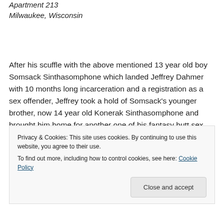Apartment 213
Milwaukee, Wisconsin
After his scuffle with the above mentioned 13 year old boy Somsack Sinthasomphone which landed Jeffrey Dahmer with 10 months long incarceration and a registration as a sex offender, Jeffrey took a hold of Somsack's younger brother, now 14 year old Konerak Sinthasomphone and brought him home for another one of his fantasy butt sex
Privacy & Cookies: This site uses cookies. By continuing to use this website, you agree to their use.
To find out more, including how to control cookies, see here: Cookie Policy